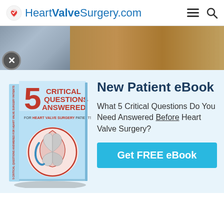HeartValveSurgery.com
[Figure (photo): Operating room scene showing surgical draping and equipment, partially visible banner image]
[Figure (illustration): Book cover: '5 Critical Questions Answered For Heart Valve Surgery Patients' with anatomical heart valve illustration]
New Patient eBook
What 5 Critical Questions Do You Need Answered Before Heart Valve Surgery?
Get FREE eBook